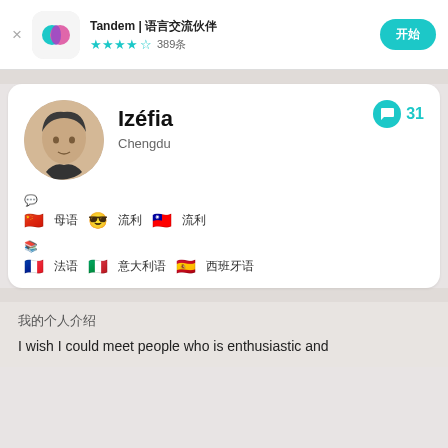Tandem | 语言交流伙伴 ★★★★☆ 389条
Izéfia
Chengdu
🇨🇳 母语  😎 流利  🇹🇼 流利
🇫🇷 法语  🇮🇹 意大利语  🇪🇸 西班牙语
我的个人介绍
I wish I could meet people who is enthusiastic and